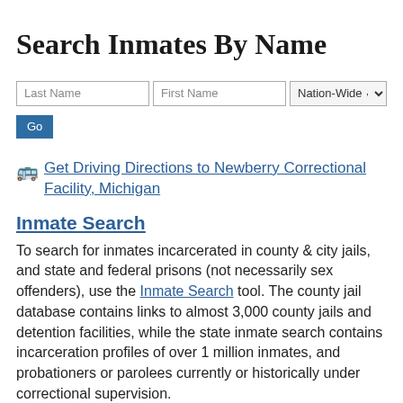Search Inmates By Name
[Figure (screenshot): Search form with Last Name text field, First Name text field, Nation-Wide dropdown, and Go button]
Get Driving Directions to Newberry Correctional Facility, Michigan
Inmate Search
To search for inmates incarcerated in county & city jails, and state and federal prisons (not necessarily sex offenders), use the Inmate Search tool. The county jail database contains links to almost 3,000 county jails and detention facilities, while the state inmate search contains incarceration profiles of over 1 million inmates, and probationers or parolees currently or historically under correctional supervision.
People Search